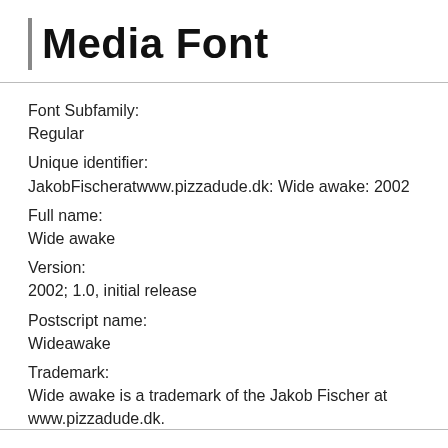Media Font
Font Subfamily:
Regular
Unique identifier:
JakobFischeratwww.pizzadude.dk: Wide awake: 2002
Full name:
Wide awake
Version:
2002; 1.0, initial release
Postscript name:
Wideawake
Trademark:
Wide awake is a trademark of the Jakob Fischer at www.pizzadude.dk.